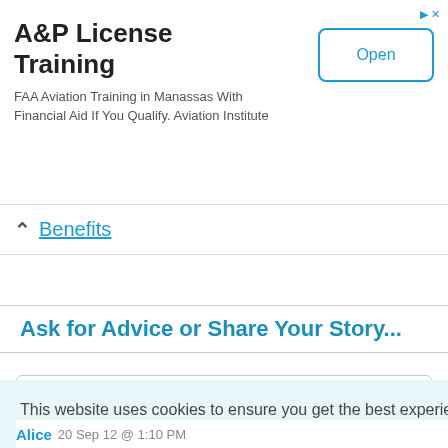[Figure (other): Advertisement banner for A&P License Training. FAA Aviation Training in Manassas With Financial Aid If You Qualify. Aviation Institute. Open button on the right.]
Benefits
Ask for Advice or Share Your Story...
Babysitting remains very much a way of
This website uses cookies to ensure you get the best experience on our website.
Cookie Policy
Got it!
Alice   20 Sep 12 @ 1:10 PM